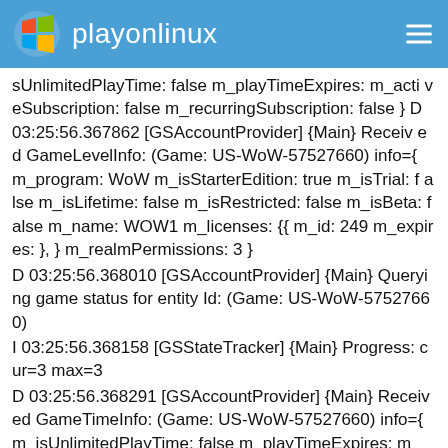playonlinux
sUnlimitedPlayTime: false m_playTimeExpires: m_activeSubscription: false m_recurringSubscription: false } D 03:25:56.367862 [GSAccountProvider] {Main} Received GameLevelInfo: (Game: US-WoW-57527660) info={ m_program: WoW m_isStarterEdition: true m_isTrial: false m_isLifetime: false m_isRestricted: false m_isBeta: false m_name: WOW1 m_licenses: {{ m_id: 249 m_expires: }, } m_realmPermissions: 3 }
D 03:25:56.368010 [GSAccountProvider] {Main} Querying game status for entity Id: (Game: US-WoW-57527660)
I 03:25:56.368158 [GSStateTracker] {Main} Progress: cur=3 max=3
D 03:25:56.368291 [GSAccountProvider] {Main} Received GameTimeInfo: (Game: US-WoW-57527660) info={ m_isUnlimitedPlayTime: false m_playTimeExpires: m_